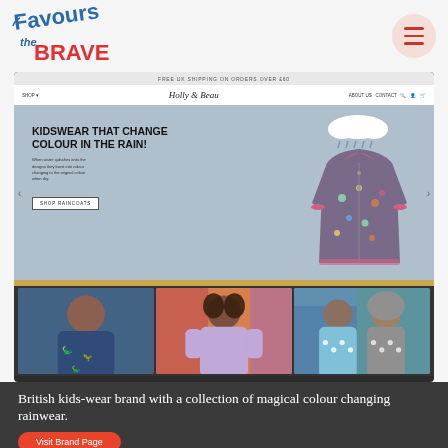[Figure (logo): Favours the BRAVE logo in blue and red handwritten style]
[Figure (screenshot): Screenshot of Holly & Beau website showing kidswear that changes colour in the rain, with carousel, navigation, hero section with raincoat image, and three photos of children in colourful rainwear]
British kids-wear brand with a collection of magical colour changing rainwear.
[Figure (other): Visit Brand Page button in red rounded rectangle]